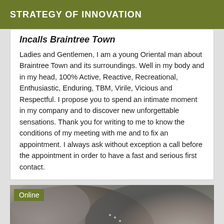STRATEGY OF INNOVATION
Incalls Braintree Town
Ladies and Gentlemen, I am a young Oriental man about Braintree Town and its surroundings. Well in my body and in my head, 100% Active, Reactive, Recreational, Enthusiastic, Enduring, TBM, Virile, Vicious and Respectful. I propose you to spend an intimate moment in my company and to discover new unforgettable sensations. Thank you for writing to me to know the conditions of my meeting with me and to fix an appointment. I always ask without exception a call before the appointment in order to have a fast and serious first contact.
[Figure (photo): Grayscale close-up photo of a person's skin/body with a small chain or jewelry visible. An 'Online' badge overlays the top-left corner.]